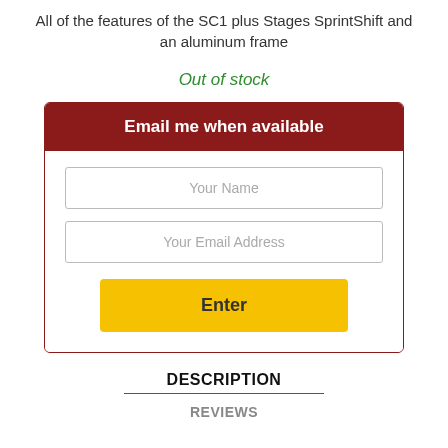All of the features of the SC1 plus Stages SprintShift and an aluminum frame
Out of stock
Email me when available
Your Name
Your Email Address
Enter
DESCRIPTION
REVIEWS